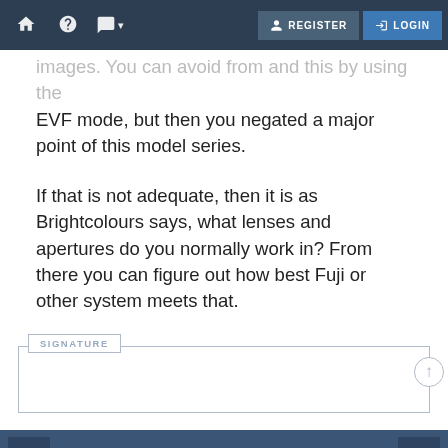🏠  ？  💬  REGISTER  LOGIN
images. You can avoid from and this by using the EVF mode, but then you negated a major point of this model series.
If that is not adequate, then it is as Brightcolours says, what lenses and apertures do you normally work in? From there you can figure out how best Fuji or other system meets that.
SIGNATURE
soLong